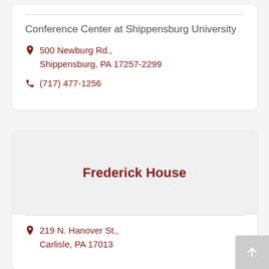Conference Center at Shippensburg University
500 Newburg Rd., Shippensburg, PA 17257-2299
(717) 477-1256
Frederick House
219 N. Hanover St., Carlisle, PA 17013